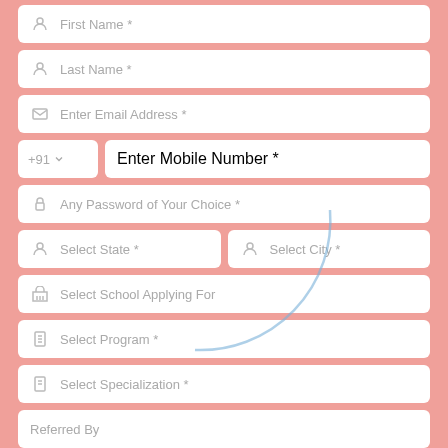[Figure (screenshot): Registration form with input fields: First Name, Last Name, Email, Mobile Number (+91), Password, State/City, School, Program, Specialization, Referred By, and a CAPTCHA row. Pink background with white rounded input boxes.]